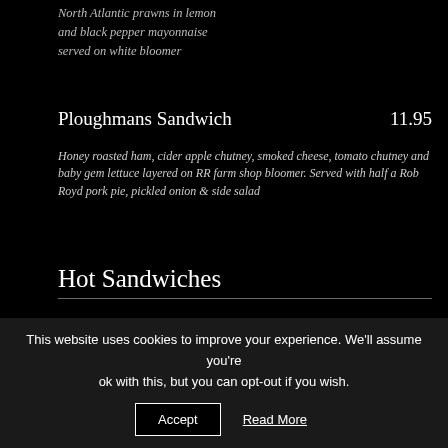North Atlantic prawns in lemon and black pepper mayonnaise served on white bloomer
Ploughmans Sandwich    11.95
Honey roasted ham, cider apple chutney, smoked cheese, tomato chutney and baby gem lettuce layered on RR farm shop bloomer. Served with half a Rob Royd pork pie, pickled onion & side salad
Hot Sandwiches
Rob Royd 28 Day Aged Fillet Steak Sandwich    15.95
Slices of 28-day aged fillet steak with caramelised onions on farm
This website uses cookies to improve your experience. We'll assume you're ok with this, but you can opt-out if you wish.   Accept   Read More